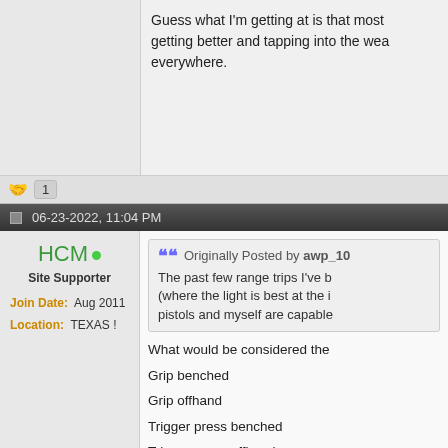Guess what I'm getting at is that most getting better and tapping into the wea everywhere.
🤝 1
06-23-2022, 11:04 PM
HCM
Site Supporter
Join Date: Aug 2011
Location: TEXAS !
Originally Posted by awp_10
The past few range trips I've b (where the light is best at the i pistols and myself are capable
What would be considered the
Grip benched
Grip offhand
Trigger press benched
Trigger press offhand
The goal is to improve precisio
Is 3 yards too close? Should 5